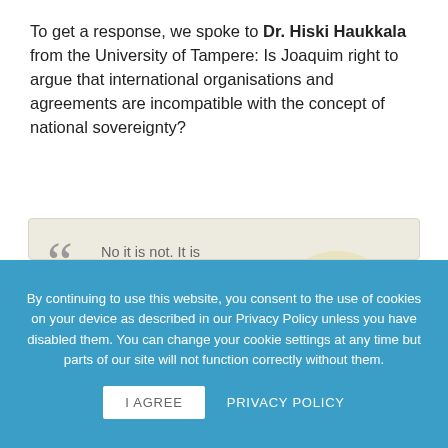To get a response, we spoke to Dr. Hiski Haukkala from the University of Tampere: Is Joaquim right to argue that international organisations and agreements are incompatible with the concept of national sovereignty?
[Figure (photo): Quote box with large quotation marks and text beginning 'No it is not. It is through the use of their sovereignty that states enter into international arrangements. They do not lose their sovereignty but on the' alongside a circular portrait photo of a man with glasses.]
By continuing to use this website, you consent to the use of cookies on your device as described in our Privacy Policy unless you have disabled them. You can change your cookie settings at any time but parts of our site will not function correctly without them.
I AGREE   PRIVACY POLICY